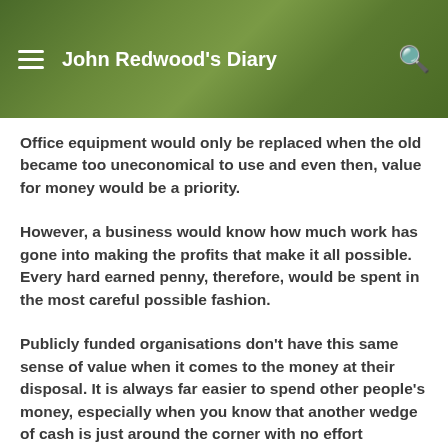John Redwood's Diary
Office equipment would only be replaced when the old became too uneconomical to use and even then, value for money would be a priority.
However, a business would know how much work has gone into making the profits that make it all possible. Every hard earned penny, therefore, would be spent in the most careful possible fashion.
Publicly funded organisations don't have this same sense of value when it comes to the money at their disposal. It is always far easier to spend other people's money, especially when you know that another wedge of cash is just around the corner with no effort necessary on your part.